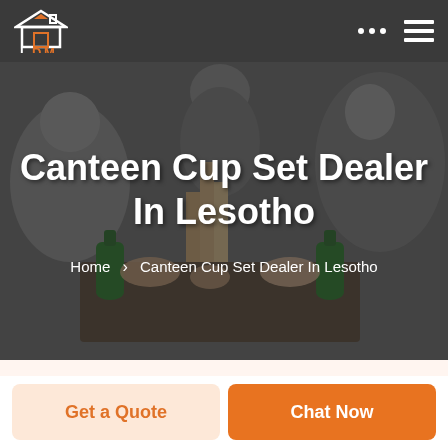LDM
Canteen Cup Set Dealer In Lesotho
Home > Canteen Cup Set Dealer In Lesotho
[Figure (photo): Group of people playing a block stacking game (Jenga) with green bottles on the table, shot from above with dark overlay]
Get a Quote
Chat Now